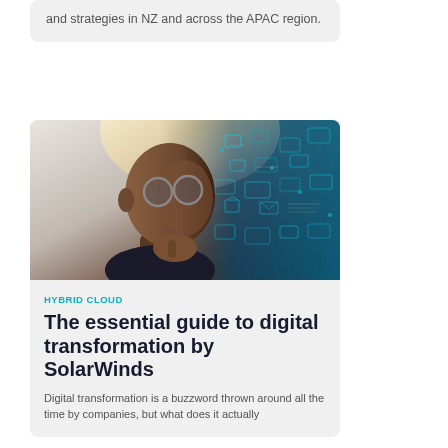and strategies in NZ and across the APAC region.
[Figure (illustration): A person wearing glasses in a thoughtful pose with hand on chin, with a digital/circuit board overlay on the right side of their head representing digital thinking and technology concepts.]
HYBRID CLOUD
The essential guide to digital transformation by SolarWinds
Digital transformation is a buzzword thrown around all the time by companies, but what does it actually